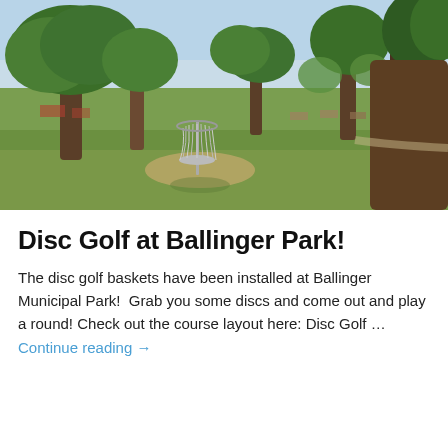[Figure (photo): Outdoor park photo showing a disc golf basket/target in the middle of a grassy field with trees and picnic tables in the background under a sunny sky]
Disc Golf at Ballinger Park!
The disc golf baskets have been installed at Ballinger Municipal Park!  Grab you some discs and come out and play a round! Check out the course layout here: Disc Golf … Continue reading →